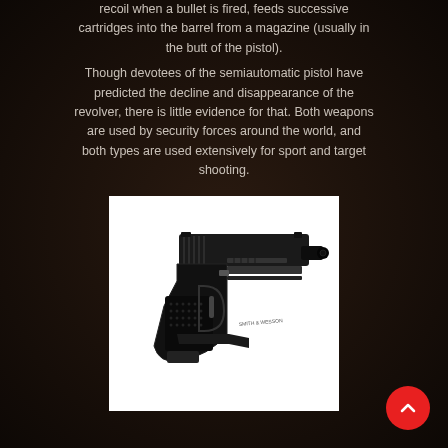recoil when a bullet is fired, feeds successive cartridges into the barrel from a magazine (usually in the butt of the pistol). Though devotees of the semiautomatic pistol have predicted the decline and disappearance of the revolver, there is little evidence for that. Both weapons are used by security forces around the world, and both types are used extensively for sport and target shooting.
[Figure (photo): Photograph of a black semiautomatic pistol (Smith & Wesson) shown in three-quarter view against a white background.]